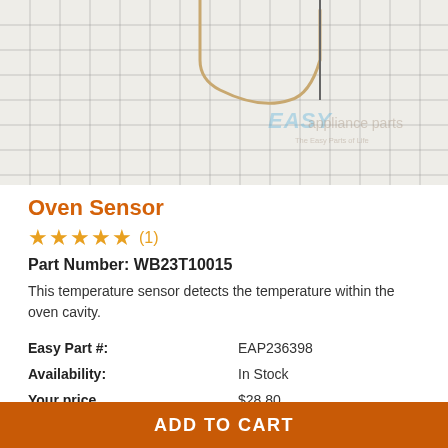[Figure (photo): Product photo of an oven sensor on a grid background with Easy Appliance Parts watermark]
Oven Sensor
★★★★★ (1)
Part Number: WB23T10015
This temperature sensor detects the temperature within the oven cavity.
| Easy Part #: | EAP236398 |
| Availability: | In Stock |
| Your price | $28.80 |
ADD TO CART